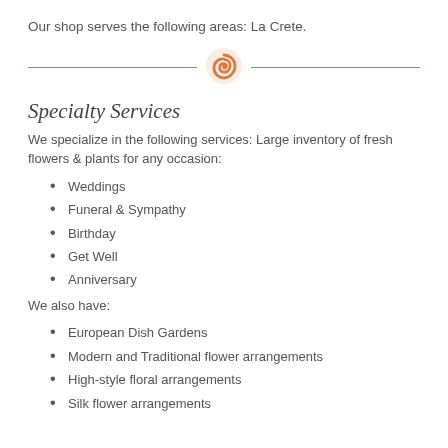Our shop serves the following areas: La Crete.
[Figure (illustration): Decorative horizontal divider with an orange swirl/rose icon in the center and lines extending to each side]
Specialty Services
We specialize in the following services: Large inventory of fresh flowers & plants for any occasion:
Weddings
Funeral & Sympathy
Birthday
Get Well
Anniversary
We also have:
European Dish Gardens
Modern and Traditional flower arrangements
High-style floral arrangements
Silk flower arrangements